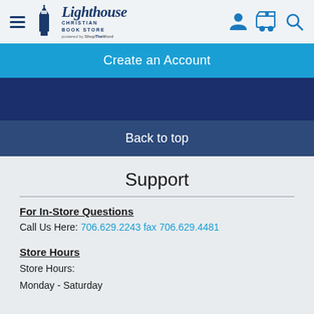Lighthouse Christian Book Store — powered by ShopTheWord
Create an Account
Back to top
Support
For In-Store Questions
Call Us Here: 706.629.2243 fax 706.629.4481
Store Hours
Store Hours:
Monday - Saturday